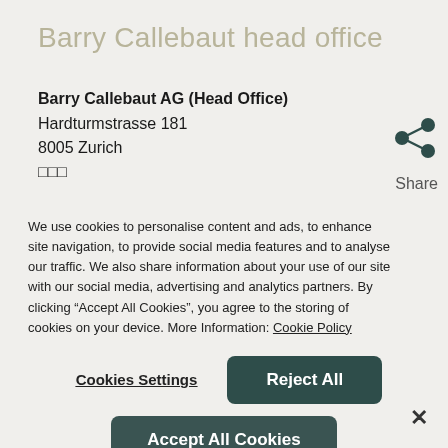Barry Callebaut head office
Barry Callebaut AG (Head Office)
Hardturmstrasse 181
8005 Zurich
□□□
We use cookies to personalise content and ads, to enhance site navigation, to provide social media features and to analyse our traffic. We also share information about your use of our site with our social media, advertising and analytics partners. By clicking “Accept All Cookies”, you agree to the storing of cookies on your device. More Information: Cookie Policy
Cookies Settings
Reject All
Accept All Cookies